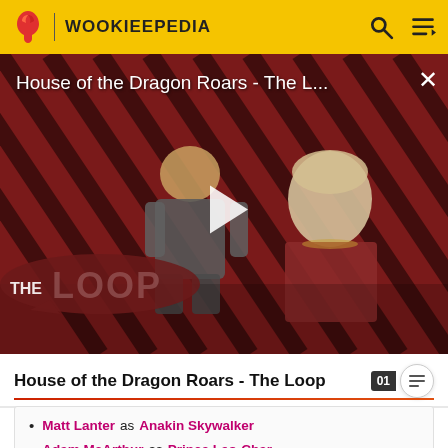WOOKIEEPEDIA
[Figure (screenshot): Video thumbnail for 'House of the Dragon Roars - The L...' showing two characters against a red and black diagonal stripe background with 'THE LOOP' branding logo and a white play button in the center.]
House of the Dragon Roars - The L...
House of the Dragon Roars - The Loop
Matt Lanter as Anakin Skywalker
Adam McArthur as Prince Leo-Char